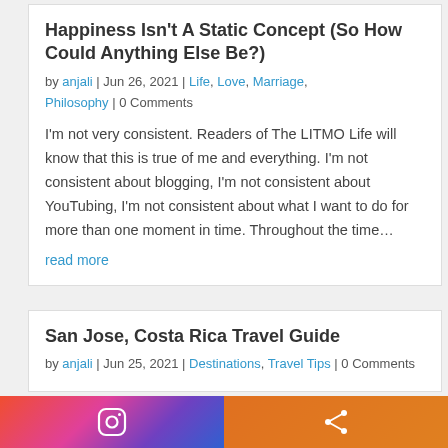Happiness Isn't A Static Concept (So How Could Anything Else Be?)
by anjali | Jun 26, 2021 | Life, Love, Marriage, Philosophy | 0 Comments
I'm not very consistent. Readers of The LITMO Life will know that this is true of me and everything. I'm not consistent about blogging, I'm not consistent about YouTubing, I'm not consistent about what I want to do for more than one moment in time. Throughout the time…
read more
San Jose, Costa Rica Travel Guide
by anjali | Jun 25, 2021 | Destinations, Travel Tips | 0 Comments
[Figure (other): Bottom navigation bar with Instagram icon on gradient left half and share icon on orange right half]